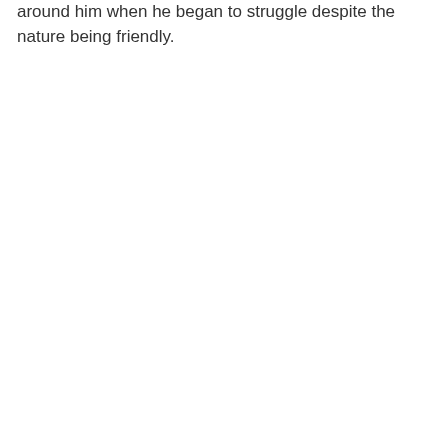around him when he began to struggle despite the nature being friendly.